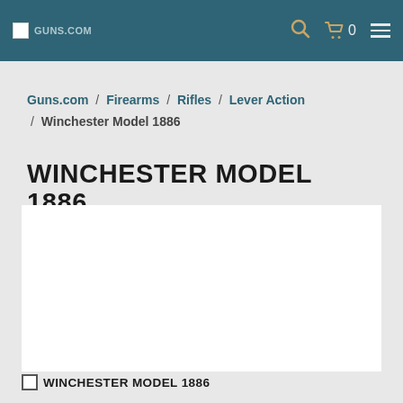Guns.com | cart 0 | menu
Guns.com / Firearms / Rifles / Lever Action / Winchester Model 1886
WINCHESTER MODEL 1886
[Figure (photo): White image panel showing Winchester Model 1886 rifle (image not loaded)]
WINCHESTER MODEL 1886